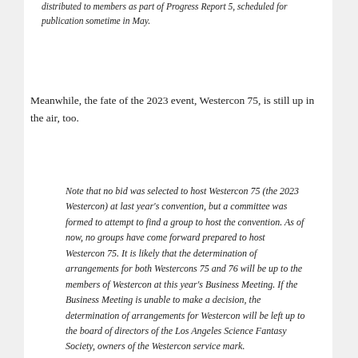distributed to members as part of Progress Report 5, scheduled for publication sometime in May.
Meanwhile, the fate of the 2023 event, Westercon 75, is still up in the air, too.
Note that no bid was selected to host Westercon 75 (the 2023 Westercon) at last year's convention, but a committee was formed to attempt to find a group to host the convention. As of now, no groups have come forward prepared to host Westercon 75. It is likely that the determination of arrangements for both Westercons 75 and 76 will be up to the members of Westercon at this year's Business Meeting. If the Business Meeting is unable to make a decision, the determination of arrangements for Westercon will be left up to the board of directors of the Los Angeles Science Fantasy Society, owners of the Westercon service mark.